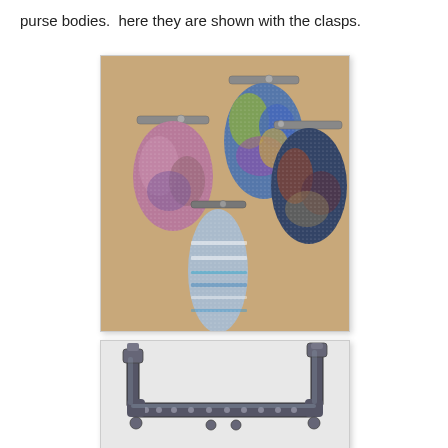purse bodies.  here they are shown with the clasps.
[Figure (photo): Four small woven fabric coin purses with metal clasps arranged on a wooden table. Top left: pink/mauve multicolor purse. Top center: blue/green/yellow patchwork purse. Bottom center: light blue striped elongated purse. Right: dark navy/red/brown patchwork purse.]
[Figure (photo): A gunmetal/dark silver metal purse frame clasp with ball hinges, shown on a white background. The clasp is a rectangular frame with decorative rivets along the bottom bar.]